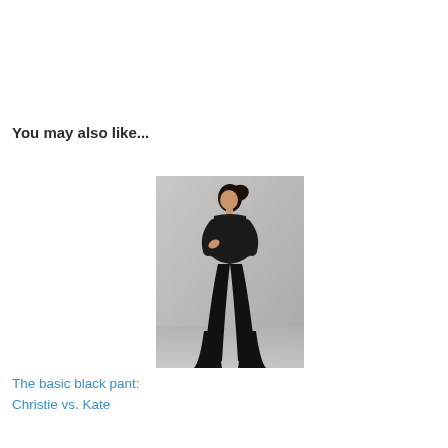You may also like...
[Figure (photo): A woman wearing a black blazer jacket with peplum detail and black wide-leg flared trousers, posing against a grey background.]
The basic black pant: Christie vs. Kate